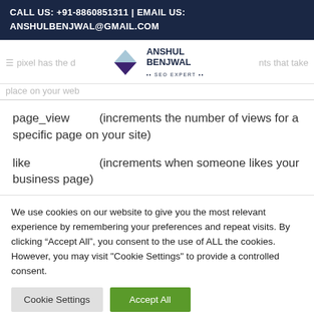CALL US: +91-8860851311 | EMAIL US: ANSHULBENJWAL@GMAIL.COM
[Figure (logo): Anshul Benjwal SEO Expert logo with diamond/gem icon and partial navigation bar]
page_view    (increments the number of views for a specific page on your site)
like    (increments when someone likes your business page)
We use cookies on our website to give you the most relevant experience by remembering your preferences and repeat visits. By clicking “Accept All”, you consent to the use of ALL the cookies. However, you may visit "Cookie Settings" to provide a controlled consent.